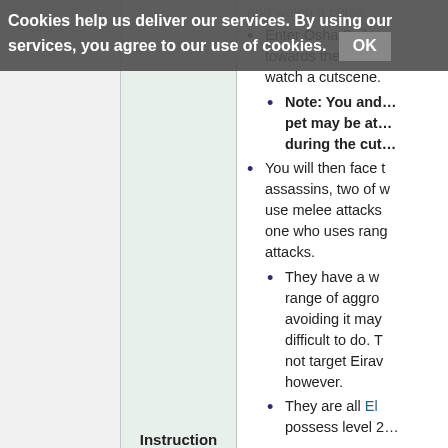Cookies help us deliver our services. By using our services, you agree to our use of cookies. OK
|  | Instruction |  |
| --- | --- | --- |
Enter Osha Sail a… towards the first c… watch a cutscene.
Note: You and… pet may be at… during the cut…
You will then face t… assassins, two of w… use melee attacks… one who uses rang… attacks.
They have a w… range of aggro… avoiding it may… difficult to do. T… not target Eirav… however.
They are all El… possess level 2…